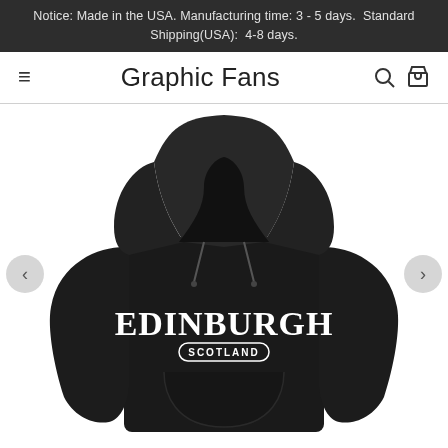Notice: Made in the USA. Manufacturing time: 3 - 5 days.  Standard Shipping(USA):  4-8 days.
Graphic Fans
[Figure (photo): Black hoodie sweatshirt with white collegiate arched text 'EDINBURGH' and 'SCOTLAND' printed on the front, displayed on a white background. Left and right carousel navigation arrows are visible on sides.]